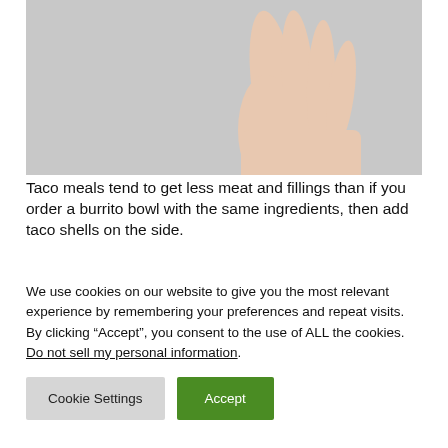[Figure (photo): A hand raised against a light gray background, partial view showing wrist and fingers pointing upward.]
Taco meals tend to get less meat and fillings than if you order a burrito bowl with the same ingredients, then add taco shells on the side.
We use cookies on our website to give you the most relevant experience by remembering your preferences and repeat visits. By clicking “Accept”, you consent to the use of ALL the cookies.
Do not sell my personal information.